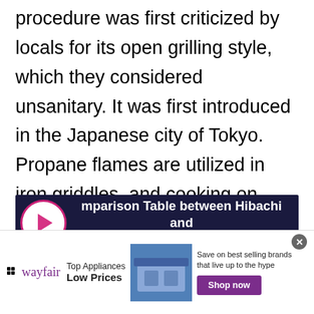procedure was first criticized by locals for its open grilling style, which they considered unsanitary. It was first introduced in the Japanese city of Tokyo. Propane flames are utilized in iron griddles, and cooking on them demands a great deal of skill.
[Figure (other): Dark navy banner with play button icon on left and bold white text reading 'Comparison Table between Hibachi and Teppanyaki']
|  |  |  |
| --- | --- | --- |
[Figure (other): Wayfair advertisement banner showing logo, 'Top Appliances Low Prices' text, appliance image, 'Save on best selling brands that live up to the hype' text, and 'Shop now' purple button]